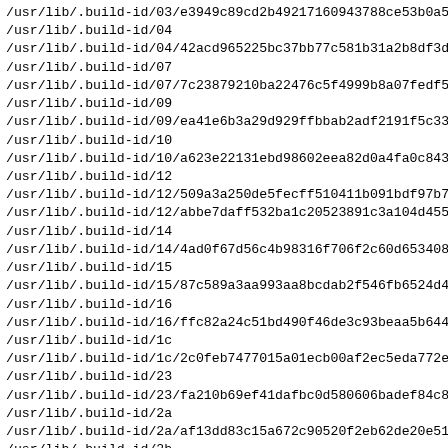/usr/lib/.build-id/03/e3949c89cd2b49217160943788ce53b0a51
/usr/lib/.build-id/04
/usr/lib/.build-id/04/42acd965225bc37bb77c581b31a2b8df3d8
/usr/lib/.build-id/07
/usr/lib/.build-id/07/7c23879210ba22476c5f4999b8a07fedf53
/usr/lib/.build-id/09
/usr/lib/.build-id/09/ea41e6b3a29d929ffbbab2adf2191f5c338
/usr/lib/.build-id/10
/usr/lib/.build-id/10/a623e22131ebd98602eea82d0a4fa0c8432
/usr/lib/.build-id/12
/usr/lib/.build-id/12/509a3a250de5fecff510411b091bdf97b7b
/usr/lib/.build-id/12/abbe7daff532ba1c20523891c3a104d4550
/usr/lib/.build-id/14
/usr/lib/.build-id/14/4ad0f67d56c4b98316f706f2c60d6534082
/usr/lib/.build-id/15
/usr/lib/.build-id/15/87c589a3aa993aa8bcdab2f546fb6524d40
/usr/lib/.build-id/16
/usr/lib/.build-id/16/ffc82a24c51bd490f46de3c93beaa5b6443
/usr/lib/.build-id/1c
/usr/lib/.build-id/1c/2c0feb7477015a01ecb00af2ec5eda772e2
/usr/lib/.build-id/23
/usr/lib/.build-id/23/fa210b69ef41dafbc0d580606badef84c80
/usr/lib/.build-id/2a
/usr/lib/.build-id/2a/af13dd83c15a672c90520f2eb62de20e51b
/usr/lib/.build-id/2b
/usr/lib/.build-id/2b/f913614e750966be9c9448fcb8d1ee87081
/usr/lib/.build-id/2e
/usr/lib/.build-id/2e/d9be1b09cd551002319ad48fbf52d174e81
/usr/lib/.build-id/2e/fd3b2075cf1df3b238f3d802a05bb400c27
/usr/lib/.build-id/30